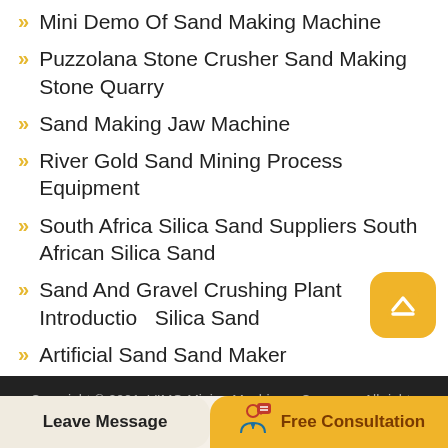Mini Demo Of Sand Making Machine
Puzzolana Stone Crusher Sand Making Stone Quarry
Sand Making Jaw Machine
River Gold Sand Mining Process Equipment
South Africa Silica Sand Suppliers South African Silica Sand
Sand And Gravel Crushing Plant Introduction Silica Sand
Artificial Sand Sand Maker
Copyright © 2021. VIMO Mining Machinery Company All rights reserved  / Sitemap
Leave Message
Free Consultation